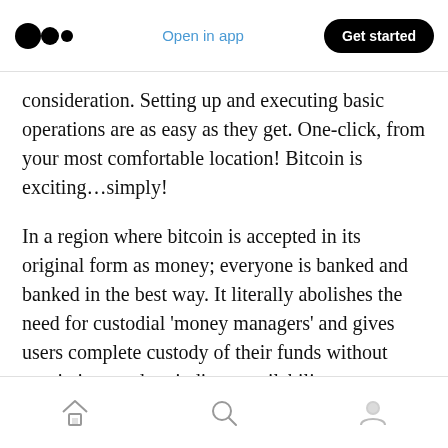Medium logo | Open in app | Get started
consideration. Setting up and executing basic operations are as easy as they get. One-click, from your most comfortable location! Bitcoin is exciting…simply!
In a region where bitcoin is accepted in its original form as money; everyone is banked and banked in the best way. It literally abolishes the need for custodial ‘money managers’ and gives users complete custody of their funds without restrictions and periodic unavailability… amazing.
Home | Search | Profile